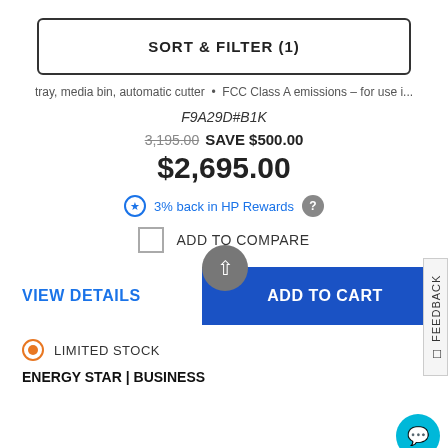SORT & FILTER (1)
tray, media bin, automatic cutter • FCC Class A emissions – for use i...
F9A29D#B1K
3,195.00 SAVE $500.00 $2,695.00
3% back in HP Rewards
ADD TO COMPARE
VIEW DETAILS
ADD TO CART
FEEDBACK
LIMITED STOCK
ENERGY STAR | BUSINESS